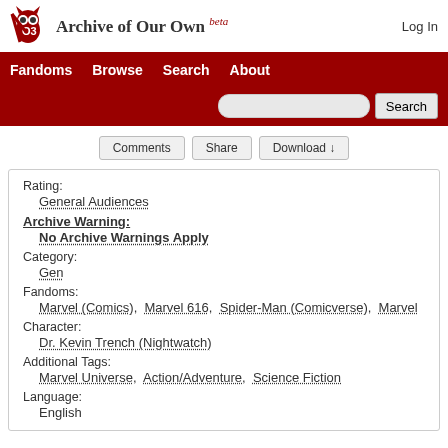Archive of Our Own beta — Log In
Fandoms  Browse  Search  About
Comments  Share  Download ↓
Rating:
General Audiences
Archive Warning:
No Archive Warnings Apply
Category:
Gen
Fandoms:
Marvel (Comics),  Marvel 616,  Spider-Man (Comicverse),  Marvel
Character:
Dr. Kevin Trench (Nightwatch)
Additional Tags:
Marvel Universe,  Action/Adventure,  Science Fiction
Language:
English